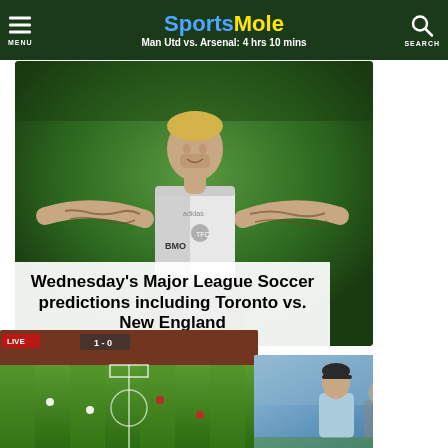Sports Mole — Man Utd vs. Arsenal: 4 hrs 10 mins
[Figure (photo): Soccer player in Toronto FC white/grey BMO jersey with arms outstretched celebrating, with green grass background]
Wednesday's Major League Soccer predictions including Toronto vs. New England
[Figure (photo): Soccer match aerial view of green pitch with players]
[Figure (photo): Coach in light blue jacket on sideline]